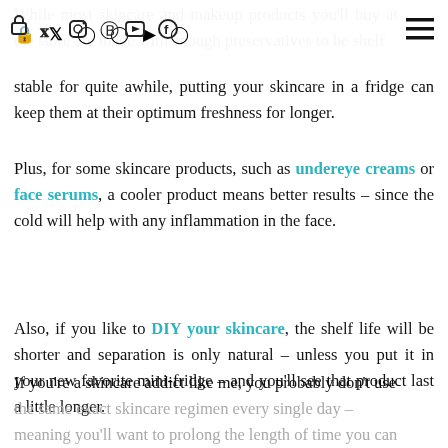[Navigation bar with lock, Twitter/X, Instagram, Pinterest, YouTube, Facebook icons and hamburger menu]
While most skincare and makeup products you'll buy at the store are made with enough preservatives to be shelf stable for quite awhile, putting your skincare in a fridge can keep them at their optimum freshness for longer.
Plus, for some skincare products, such as undereye creams or face serums, a cooler product means better results – since the cold will help with any inflammation in the face.
Also, if you like to DIY your skincare, the shelf life will be shorter and separation is only natural – unless you put it in your new favorite mini-fridge – and you'll see that product last a little longer.
If you're a skincare addict like me, you probably don't use the same exact skincare regimen every single day – meaning you'll want to prolong the length of time you can